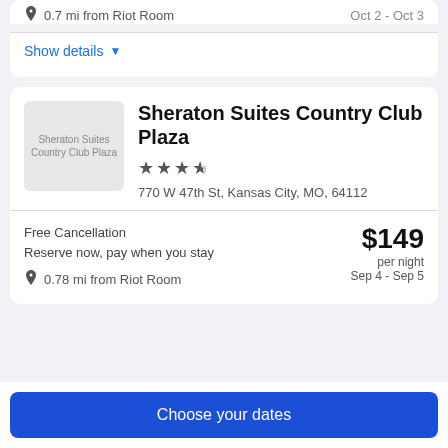0.7 mi from Riot Room
Oct 2 - Oct 3
Show details
Sheraton Suites Country Club Plaza
770 W 47th St, Kansas City, MO, 64112
Free Cancellation
Reserve now, pay when you stay
$149 per night
Sep 4 - Sep 5
0.78 mi from Riot Room
Choose your dates